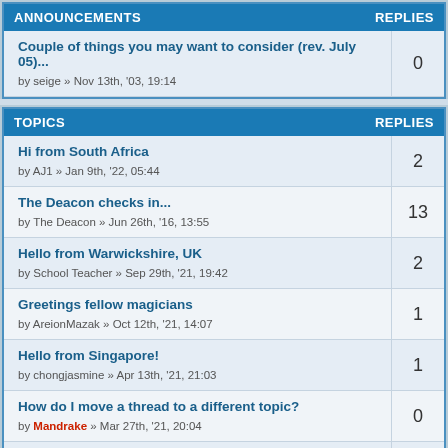| ANNOUNCEMENTS | REPLIES |
| --- | --- |
| Couple of things you may want to consider (rev. July 05)...
by seige » Nov 13th, '03, 19:14 | 0 |
| TOPICS | REPLIES |
| --- | --- |
| Hi from South Africa
by AJ1 » Jan 9th, '22, 05:44 | 2 |
| The Deacon checks in...
by The Deacon » Jun 26th, '16, 13:55 | 13 |
| Hello from Warwickshire, UK
by School Teacher » Sep 29th, '21, 19:42 | 2 |
| Greetings fellow magicians
by AreionMazak » Oct 12th, '21, 14:07 | 1 |
| Hello from Singapore!
by chongjasmine » Apr 13th, '21, 21:03 | 1 |
| How do I move a thread to a different topic?
by Mandrake » Mar 27th, '21, 20:04 | 0 |
| Hello
by blink18252 » Dec 12th, '20, 03:10 | 2 |
| Greetings and Salutations...
by electricdreams9 » Nov 29th, '20, 12:07 | 1 |
| Hello from the US |  |